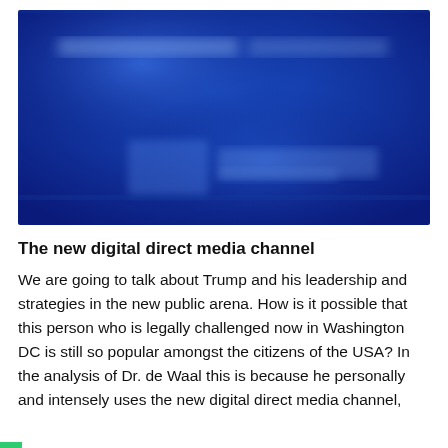[Figure (photo): A blurred blue-toned image, likely a screenshot or digital media visual with faint text visible but unreadable due to blurring. Background is deep blue with lighter blue highlights.]
The new digital direct media channel
We are going to talk about Trump and his leadership and strategies in the new public arena. How is it possible that this person who is legally challenged now in Washington DC is still so popular amongst the citizens of the USA? In the analysis of Dr. de Waal this is because he personally and intensely uses the new digital direct media channel,